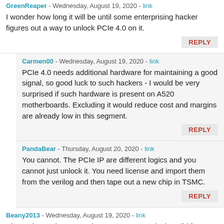GreenReaper - Wednesday, August 19, 2020 - link
I wonder how long it will be until some enterprising hacker figures out a way to unlock PCIe 4.0 on it.
REPLY
Carmen00 - Wednesday, August 19, 2020 - link
PCIe 4.0 needs additional hardware for maintaining a good signal, so good luck to such hackers - I would be very surprised if such hardware is present on A520 motherboards. Excluding it would reduce cost and margins are already low in this segment.
REPLY
PandaBear - Thursday, August 20, 2020 - link
You cannot. The PCIe IP are different logics and you cannot just unlock it. You need license and import them from the verilog and then tape out a new chip in TSMC.
REPLY
Beany2013 - Wednesday, August 19, 2020 - link
Ah good. Now just to get the Zen2 APUs out in the wild for us mere mortals, and I might finally be able to justify upgrading my A8-3870K. Yes, really.
I generally do internet, streaming video and some DXVK gaming...